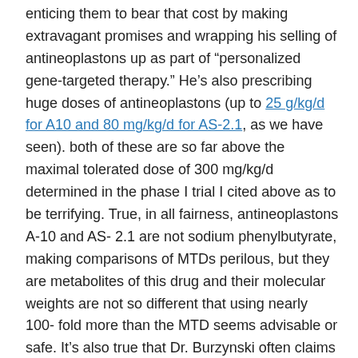enticing them to bear that cost by making extravagant promises and wrapping his selling of antineoplastons up as part of “personalized gene-targeted therapy.” He’s also prescribing huge doses of antineoplastons (up to 25 g/kg/d for A10 and 80 mg/kg/d for AS-2.1, as we have seen). both of these are so far above the maximal tolerated dose of 300 mg/kg/d determined in the phase I trial I cited above as to be terrifying. True, in all fairness, antineoplastons A-10 and AS-2.1 are not sodium phenylbutyrate, making comparisons of MTDs perilous, but they are metabolites of this drug and their molecular weights are not so different that using nearly 100-fold more than the MTD seems advisable or safe. It’s also true that Dr. Burzynski often claims that very high doses are needed to be effective. Indeed, a key part of the collapse of his NCI trial in the 1990s was due to Dr. Burzynski’s unhappiness with the dosing schedule and his belief that it should be higher, while the NCI was concerned about the risk of serious side effects. Even if he were correct, which he might have been, a